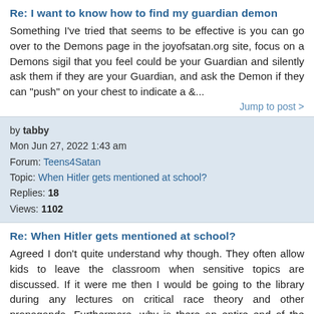Re: I want to know how to find my guardian demon
Something I've tried that seems to be effective is you can go over to the Demons page in the joyofsatan.org site, focus on a Demons sigil that you feel could be your Guardian and silently ask them if they are your Guardian, and ask the Demon if they can "push" on your chest to indicate a &...
Jump to post >
by tabby
Mon Jun 27, 2022 1:43 am
Forum: Teens4Satan
Topic: When Hitler gets mentioned at school?
Replies: 18
Views: 1102
Re: When Hitler gets mentioned at school?
Agreed I don't quite understand why though. They often allow kids to leave the classroom when sensitive topics are discussed. If it were me then I would be going to the library during any lectures on critical race theory and other propaganda. Furthermore, why is there an entire end of the year exam...
Jump to post >
by tabby
Tue Jun 21, 2022 7:32 pm